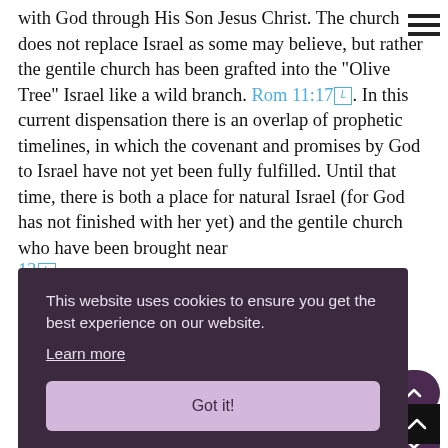with God through His Son Jesus Christ. The church does not replace Israel as some may believe, but rather the gentile church has been grafted into the "Olive Tree" Israel like a wild branch. Rom 11:17 . In this current dispensation there is an overlap of prophetic timelines, in which the covenant and promises by God to Israel have not yet been fully fulfilled. Until that time, there is both a place for natural Israel (for God has not finished with her yet) and the gentile church who have been brought near
[Figure (screenshot): Cookie consent banner with dark purple background. Text: 'This website uses cookies to ensure you get the best experience on our website. Learn more' with a 'Got it!' button below.]